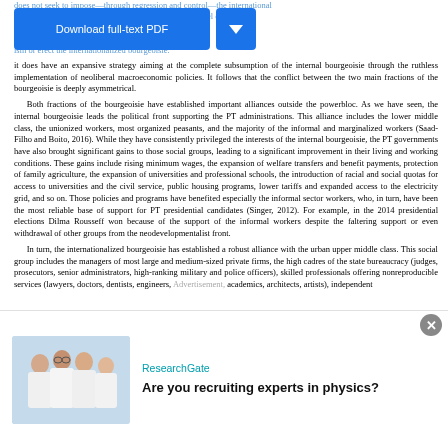does not seek to impose—through regression and control—the international bourgeoisie and its dependence on imperialism at the level of industry and politics; and it does not aim to break the mold of a subsumption within global imperialism or erect the internationalized bourgeoisie.
[Figure (screenshot): Blue 'Download full-text PDF' button with dropdown arrow]
it does have an expansive strategy aiming at the complete subsumption of the internal bourgeoisie through the ruthless implementation of neoliberal macroeconomic policies. It follows that the conflict between the two main fractions of the bourgeoisie is deeply asymmetrical.
    Both fractions of the bourgeoisie have established important alliances outside the powerbloc. As we have seen, the internal bourgeoisie leads the political front supporting the PT administrations. This alliance includes the lower middle class, the unionized workers, most organized peasants, and the majority of the informal and marginalized workers (Saad-Filho and Boito, 2016). While they have consistently privileged the interests of the internal bourgeoisie, the PT governments have also brought significant gains to those social groups, leading to a significant improvement in their living and working conditions. These gains include rising minimum wages, the expansion of welfare transfers and benefit payments, protection of family agriculture, the expansion of universities and professional schools, the introduction of racial and social quotas for access to universities and the civil service, public housing programs, lower tariffs and expanded access to the electricity grid, and so on. Those policies and programs have benefited especially the informal sector workers, who, in turn, have been the most reliable base of support for PT presidential candidates (Singer, 2012). For example, in the 2014 presidential elections Dilma Rousseff won because of the support of the informal workers despite the faltering support or even withdrawal of other groups from the neodevelopmentalist front.
    In turn, the internationalized bourgeoisie has established a robust alliance with the urban upper middle class. This social group includes the managers of most large and medium-sized private firms, the high cadres of the state bureaucracy (judges, prosecutors, senior administrators, high-ranking military and police officers), skilled professionals offering nonreproducible services (lawyers, doctors, dentists, engineers, academics, architects, artists), independent
Advertisement
[Figure (photo): Photo of people in white coats (scientists/researchers)]
ResearchGate
Are you recruiting experts in physics?